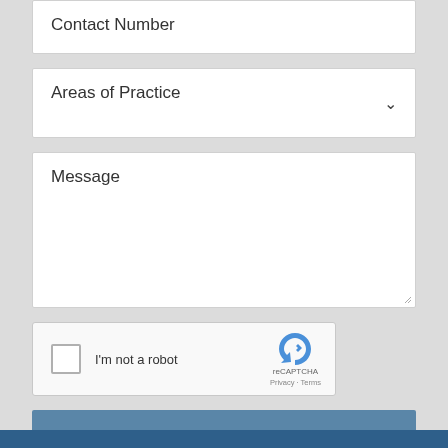Contact Number
Areas of Practice
Message
[Figure (screenshot): reCAPTCHA widget with checkbox labeled I'm not a robot]
SUBMIT